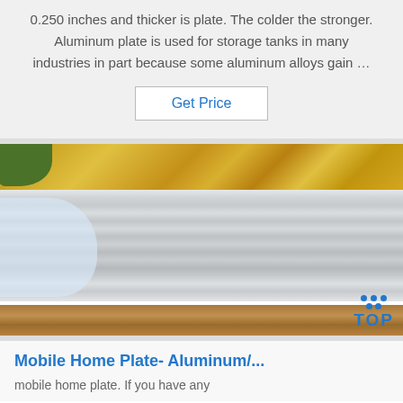0.250 inches and thicker is plate. The colder the stronger. Aluminum plate is used for storage tanks in many industries in part because some aluminum alloys gain …
Get Price
[Figure (photo): Photo of aluminum plate sheets wrapped in plastic film, with yellow/gold decorative foil and flowers visible at the top, and a wooden surface at the bottom. A 'TOP' navigation button is overlaid in the bottom-right corner.]
Mobile Home Plate- Aluminum/...
mobile home plate. If you have any